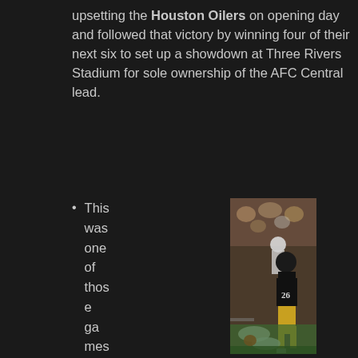upsetting the Houston Oilers on opening day and followed that victory by winning four of their next six to set up a showdown at Three Rivers Stadium for sole ownership of the AFC Central lead.
This was one of those games that NFL Films couldn't hav
[Figure (photo): Action photo of a Pittsburgh Steelers player wearing #26 in black and gold uniform running with the football at Three Rivers Stadium, with defenders on the ground and another player pursuing from behind.]